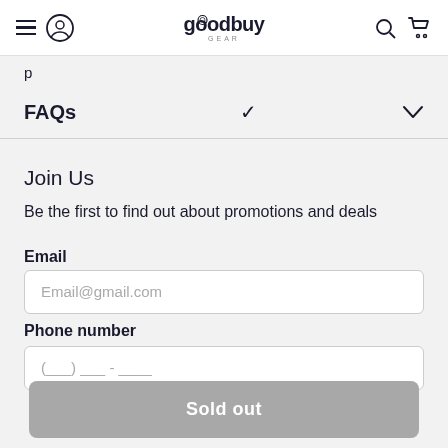goodbuy GEAR
FAQs
Join Us
Be the first to find out about promotions and deals
Email
Email@gmail.com
Phone number
Sold out